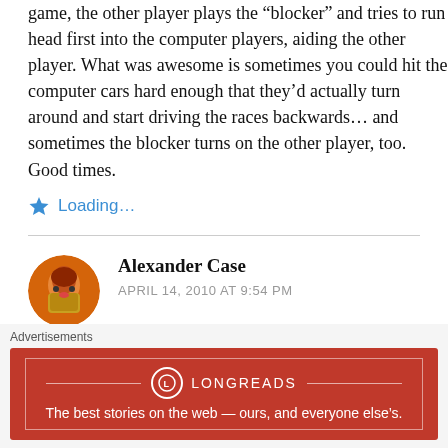game, the other player plays the “blocker” and tries to run head first into the computer players, aiding the other player. What was awesome is sometimes you could hit the computer cars hard enough that they’d actually turn around and start driving the races backwards… and sometimes the blocker turns on the other player, too. Good times.
★ Loading…
Alexander Case
APRIL 14, 2010 AT 9:54 PM
Yeah. Unfortunately I only had the one controller.
Advertisements
[Figure (screenshot): Longreads advertisement banner: red background with Longreads logo and tagline 'The best stories on the web — ours, and everyone else’s.']